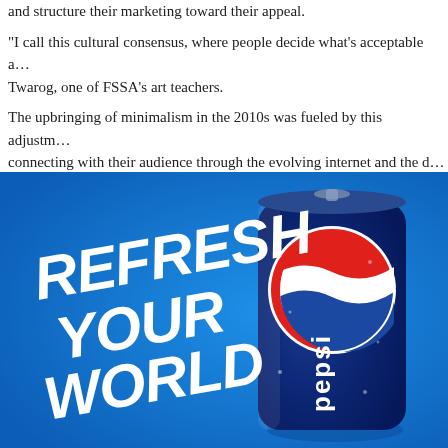and structure their marketing toward their appeal.
"I call this cultural consensus, where people decide what's acceptable a… Twarog, one of FSSA's art teachers.
The upbringing of minimalism in the 2010s was fueled by this adjustm… connecting with their audience through the evolving internet and the d… smartphone.
[Figure (photo): Pepsi advertisement showing a Pepsi can with the tagline 'REFRESH YOUR WORLD' in large white italic bold text on a bright blue background.]